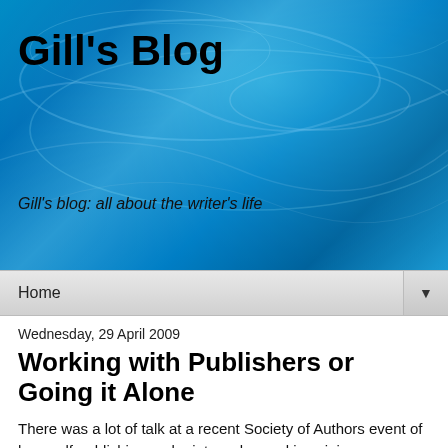Gill's Blog
Gill's blog: all about the writer's life
Home
Wednesday, 29 April 2009
Working with Publishers or Going it Alone
There was a lot of talk at a recent Society of Authors event of how self-publishing and print-on-demand is gaining respectability. If you self-publish, using print on demand, you can have control. You can offer respectable discounts. You can feature in bestseller lists. You never go out of print. You can appear on that evener of playing field, Amazon. However, do people actually buy print-on-demand titles other than from people they know or if they are in a very specialised area?